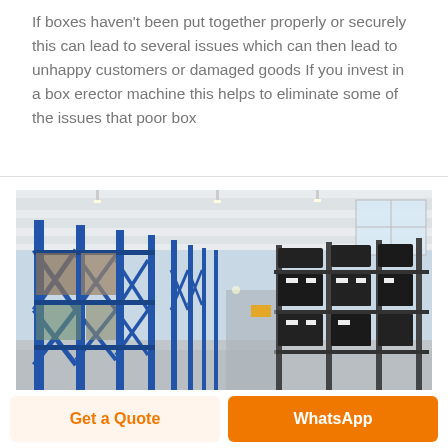If boxes haven't been put together properly or securely this can lead to several issues which can then lead to unhappy customers or damaged goods If you invest in a box erector machine this helps to eliminate some of the issues that poor box
[Figure (photo): Interior of a large warehouse with blue metal shelving racks on the left side and dark metal shelving stocked with machinery parts on the right side. The warehouse has a high white ceiling with fluorescent lighting.]
Get a Quote
WhatsApp